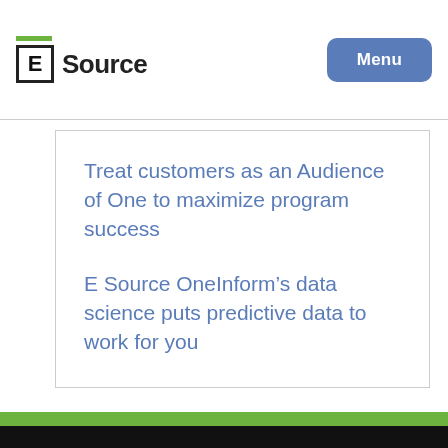E Source | Menu
Treat customers as an Audience of One to maximize program success
E Source OneInform’s data science puts predictive data to work for you